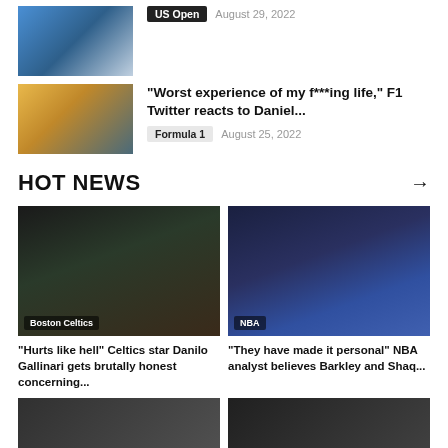[Figure (photo): US Open tennis player photo thumbnail]
US Open
August 29, 2022
[Figure (photo): Formula 1 driver Daniel Ricciardo photo thumbnail]
“Worst experience of my f***ing life,” F1 Twitter reacts to Daniel...
Formula 1
August 25, 2022
HOT NEWS
[Figure (photo): Boston Celtics player Danilo Gallinari action photo]
“Hurts like hell” Celtics star Danilo Gallinari gets brutally honest concerning...
[Figure (photo): NBA player in Nets jersey #7 and analyst photo]
“They have made it personal” NBA analyst believes Barkley and Shaq...
[Figure (photo): Bottom thumbnail sports photo 1]
[Figure (photo): Bottom thumbnail sports photo 2]